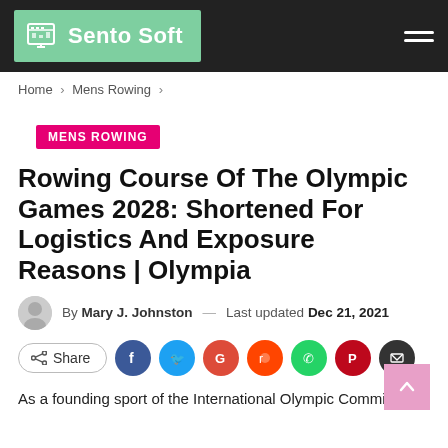Sento Soft
Home > Mens Rowing >
MENS ROWING
Rowing Course Of The Olympic Games 2028: Shortened For Logistics And Exposure Reasons | Olympia
By Mary J. Johnston — Last updated Dec 21, 2021
Share
As a founding sport of the International Olympic Committee